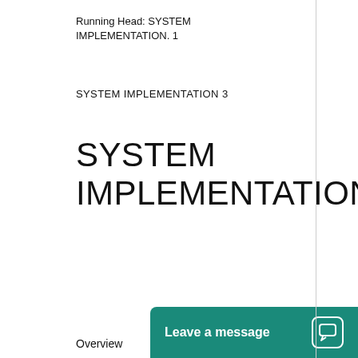Running Head: SYSTEM IMPLEMENTATION. 1
SYSTEM IMPLEMENTATION 3
SYSTEM IMPLEMENTATION
Overview